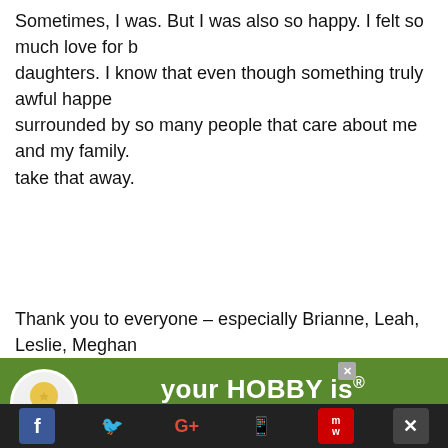Sometimes, I was. But I was also so happy. I felt so much love for b… daughters. I know that even though something truly awful happe… surrounded by so many people that care about me and my family. take that away.
Thank you to everyone – especially Brianne, Leah, Leslie, Meghan…
[Figure (infographic): Advertisement banner for 'cookies for kid's cancer' charity. Green background with circular logo on left showing a heart-shaped cookie, bold white text reading 'your HOBBY is their HOPE'. Social media share bar at bottom with Facebook, Twitter, Google+, WhatsApp, and other icons.]